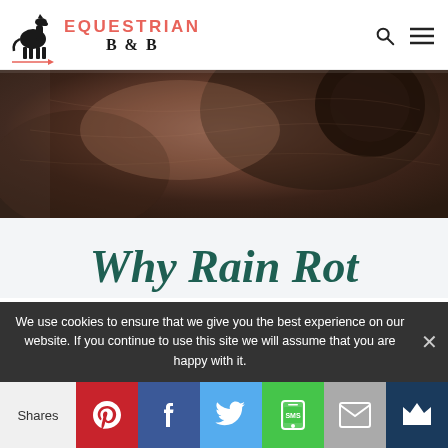EQUESTRIAN B & B
[Figure (photo): Close-up photo of a horse's coat/hide, dark brown tones, showing texture of horse skin or hair]
Why Rain Rot
We use cookies to ensure that we give you the best experience on our website. If you continue to use this site we will assume that you are happy with it.
Shares | Pinterest | Facebook | Twitter | SMS | Email | Bookmark